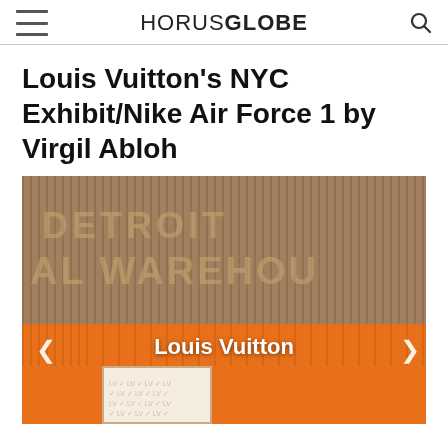HORUSGLOBE
Louis Vuitton's NYC Exhibit/Nike Air Force 1 by Virgil Abloh
[Figure (photo): Photograph of an orange building exterior with rusted corrugated metal walls showing faded lettering ('WAREHOU' visible), with an orange storefront below showing a door with Louis Vuitton monogram pattern. Text overlay reads 'Louis Vuitton' with left and right navigation arrows.]